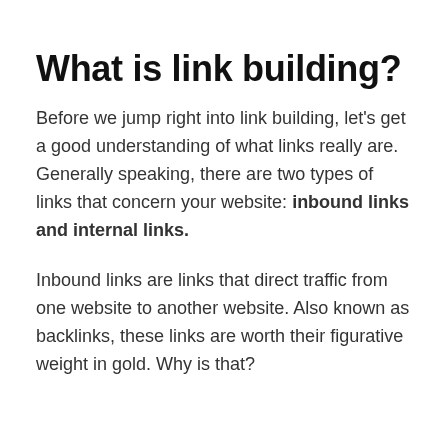What is link building?
Before we jump right into link building, let's get a good understanding of what links really are. Generally speaking, there are two types of links that concern your website: inbound links and internal links.
Inbound links are links that direct traffic from one website to another website. Also known as backlinks, these links are worth their figurative weight in gold. Why is that?